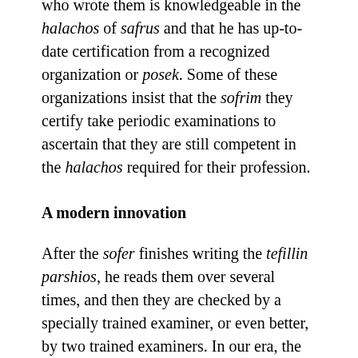who wrote them is knowledgeable in the halachos of safrus and that he has up-to-date certification from a recognized organization or posek. Some of these organizations insist that the sofrim they certify take periodic examinations to ascertain that they are still competent in the halachos required for their profession.
A modern innovation
After the sofer finishes writing the tefillin parshios, he reads them over several times, and then they are checked by a specially trained examiner, or even better, by two trained examiners. In our era, the checking process has been tremendously enhanced by a modern innovation – computer-checking. The written parshios are scanned into a computer that has a program comparing the written parshios with the computer's version. The computer checks for